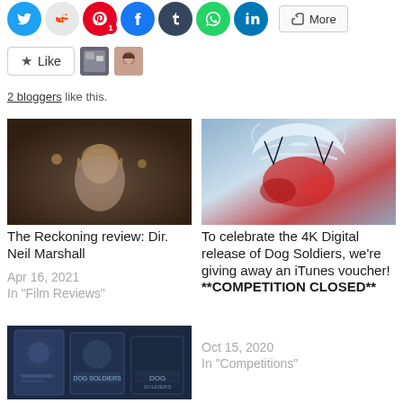[Figure (infographic): Social media share icons: Twitter, Reddit, Pinterest (with badge 1), Facebook, Tumblr, WhatsApp, LinkedIn, and a More button]
[Figure (infographic): Like button with star icon and two blogger avatar thumbnails]
2 bloggers like this.
[Figure (photo): Scene from The Reckoning film - woman with blonde hair looking up in dark setting]
The Reckoning review: Dir. Neil Marshall
Apr 16, 2021
In "Film Reviews"
[Figure (photo): Artwork for Dog Soldiers - abstract artwork with blue and red tones, antlered creature]
To celebrate the 4K Digital release of Dog Soldiers, we're giving away an iTunes voucher! **COMPETITION CLOSED**
Oct 15, 2020
In "Competitions"
[Figure (photo): Dog Soldiers merchandise / artwork items including posters and packaging]